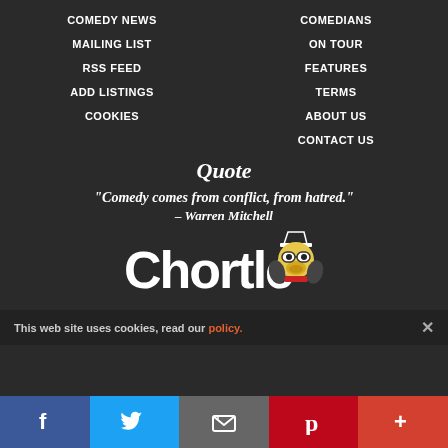COMEDY NEWS
COMEDIANS
MAILING LIST
ON TOUR
RSS FEED
FEATURES
ADD LISTINGS
TERMS
COOKIES
ABOUT US
CONTACT US
Quote
“Comedy comes from conflict, from hatred.”
– Warren Mitchell
[Figure (logo): Chortle logo with bird mascot]
This web site uses cookies, read our policy.
Facebook Twitter Email Pinterest More